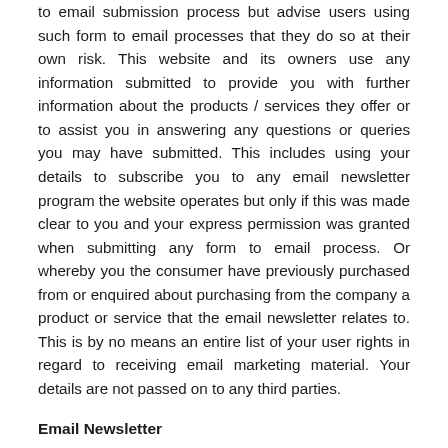to email submission process but advise users using such form to email processes that they do so at their own risk. This website and its owners use any information submitted to provide you with further information about the products / services they offer or to assist you in answering any questions or queries you may have submitted. This includes using your details to subscribe you to any email newsletter program the website operates but only if this was made clear to you and your express permission was granted when submitting any form to email process. Or whereby you the consumer have previously purchased from or enquired about purchasing from the company a product or service that the email newsletter relates to. This is by no means an entire list of your user rights in regard to receiving email marketing material. Your details are not passed on to any third parties.
Email Newsletter